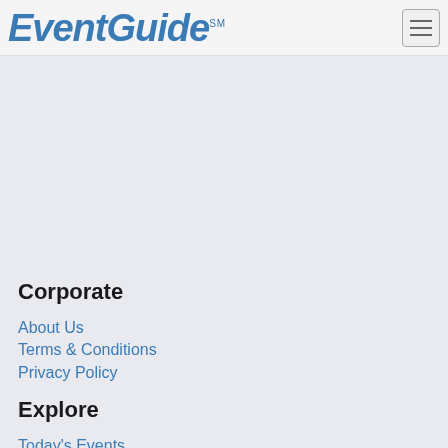EventGuide
Corporate
About Us
Terms & Conditions
Privacy Policy
Explore
Today's Events
Alphabetical
RSS